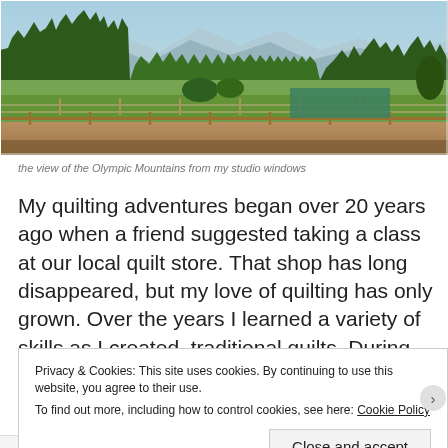[Figure (photo): Landscape photo showing fields, fences, trees, and the Olympic Mountains in the background under a blue sky, taken from a studio window.]
the view of the Olympic Mountains from my studio windows
My quilting adventures began over 20 years ago when a friend suggested taking a class at our local quilt store. That shop has long disappeared, but my love of quilting has only grown. Over the years I learned a variety of skills as I created  traditional quilts. During this time, I also collected vintage Singer sewing machines including a few treadle and several hand crank
Privacy & Cookies: This site uses cookies. By continuing to use this website, you agree to their use.
To find out more, including how to control cookies, see here: Cookie Policy
Close and accept